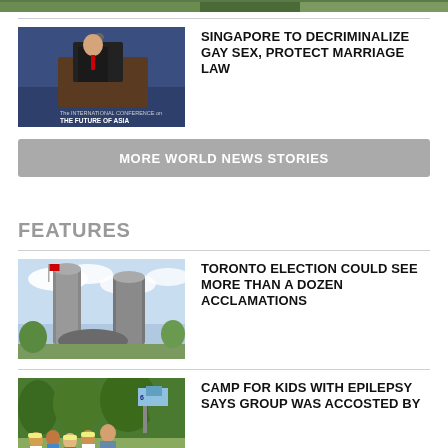[Figure (photo): Partial top image cropped at top of page]
[Figure (photo): Man in suit speaking at podium at The International Conference on The Future of Asia]
SINGAPORE TO DECRIMINALIZE GAY SEX, PROTECT MARRIAGE LAW
MORE WORLD NEWS STORIES
FEATURES
[Figure (photo): Toronto city hall building with distinctive curved towers against cloudy sky]
TORONTO ELECTION COULD SEE MORE THAN A DOZEN ACCLAMATIONS
[Figure (photo): Children at a camp outdoors with trees in background]
CAMP FOR KIDS WITH EPILEPSY SAYS GROUP WAS ACCOSTED BY